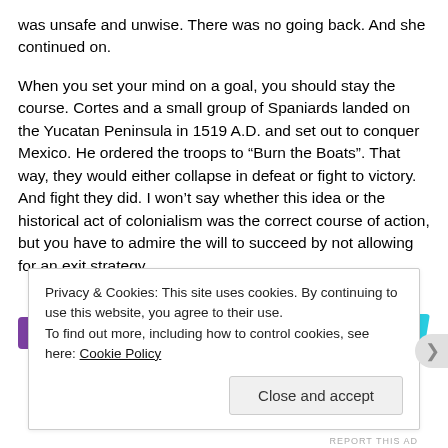was unsafe and unwise. There was no going back. And she continued on.
When you set your mind on a goal, you should stay the course. Cortes and a small group of Spaniards landed on the Yucatan Peninsula in 1519 A.D. and set out to conquer Mexico. He ordered the troops to “Burn the Boats”. That way, they would either collapse in defeat or fight to victory. And fight they did. I won’t say whether this idea or the historical act of colonialism was the correct course of action, but you have to admire the will to succeed by not allowing for an exit strategy.
Privacy & Cookies: This site uses cookies. By continuing to use this website, you agree to their use.
To find out more, including how to control cookies, see here: Cookie Policy
Close and accept